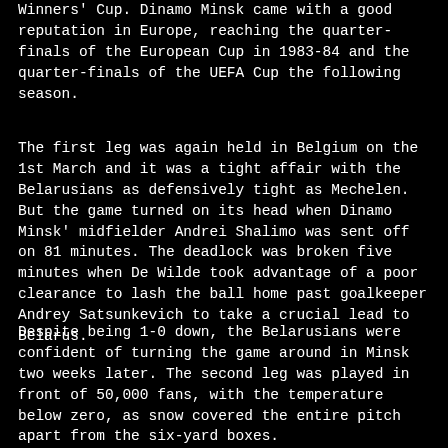Winners' Cup. Dinamo Minsk came with a good reputation in Europe, reaching the quarter-finals of the European Cup in 1983-84 and the quarter-finals of the UEFA Cup the following season.
The first leg was again held in Belgium on the 1st March and it was a tight affair with the Belarusians as defensively tight as Mechelen. But the game turned on its head when Dinamo Minsk' midfielder Andrei Shalimo was sent off on 81 minutes. The deadlock was broken five minutes when De Wilde took advantage of a poor clearance to lash the ball home past goalkeeper Andrey Satsunkevich to take a crucial lead to Belarus.
Despite being 1-0 down, the Belarusians were confident of turning the game around in Minsk two weeks later. The second leg was played in front of 50,000 fans, with the temperature below zero, as snow covered the entire pitch apart from the six-yard boxes.